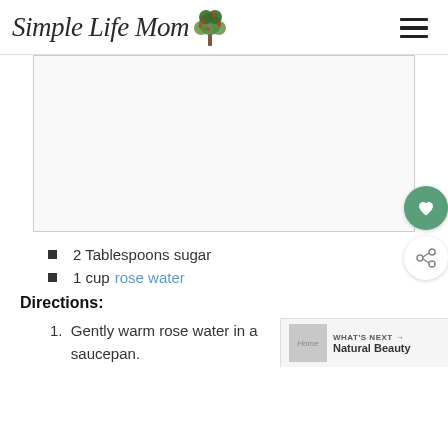Simple Life Mom
[Figure (photo): Advertisement or placeholder image box]
2 Tablespoons sugar
1 cup rose water
Directions:
Gently warm rose water in a saucepan.